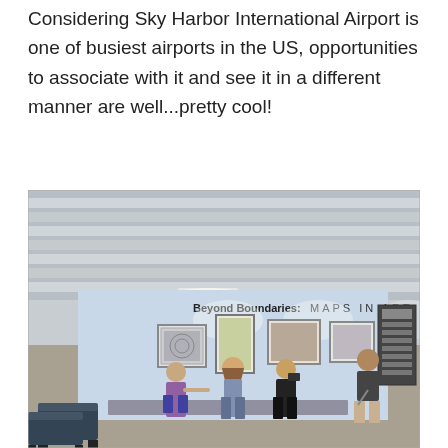Considering Sky Harbor International Airport is one of busiest airports in the US, opportunities to associate with it and see it in a different manner are well...pretty cool!
[Figure (photo): People viewing an art exhibit titled 'Beyond Boundaries: MAPS IN ART' at Sky Harbor International Airport. Several visitors stand looking at framed artwork displayed on a light blue wall. Airport seating is visible in the foreground.]